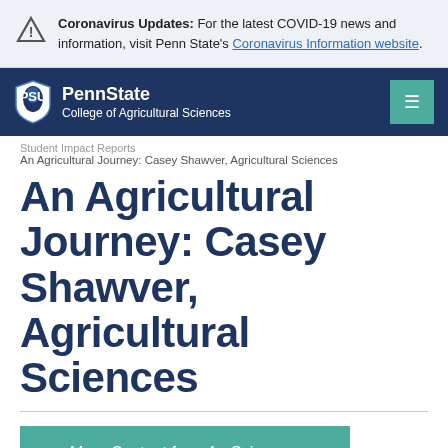Coronavirus Updates: For the latest COVID-19 news and information, visit Penn State's Coronavirus Information website.
[Figure (logo): Penn State College of Agricultural Sciences navigation bar with shield logo and hamburger menu]
Student Impact Reports
An Agricultural Journey: Casey Shawver, Agricultural Sciences
An Agricultural Journey: Casey Shawver, Agricultural Sciences
≡ More Content from Ag Sciences Global
Posted: October 19, 2014